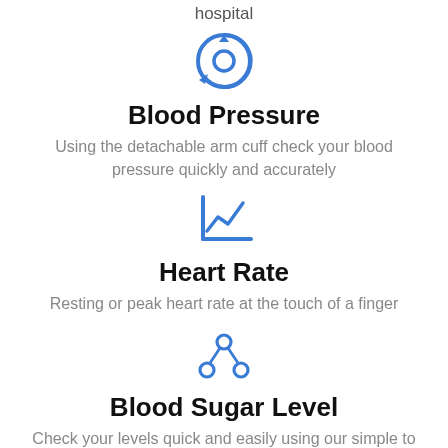hospital
[Figure (illustration): Blue circular sync/refresh icon representing hospital connectivity]
Blood Pressure
Using the detachable arm cuff check your blood pressure quickly and accurately
[Figure (illustration): Blue line chart icon representing heart rate monitoring]
Heart Rate
Resting or peak heart rate at the touch of a finger
[Figure (illustration): Blue network/nodes icon representing blood sugar level measurement]
Blood Sugar Level
Check your levels quick and easily using our simple to use blood sugar measuring function